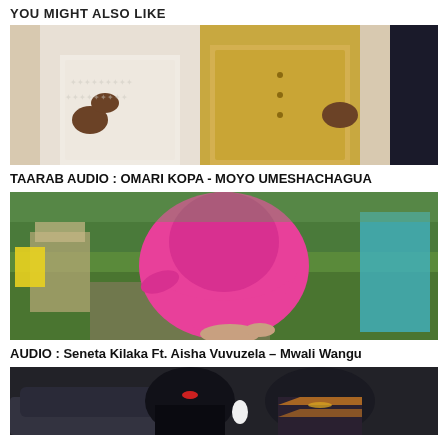YOU MIGHT ALSO LIKE
[Figure (photo): Two people standing side by side, one in white embroidered outfit and one in gold/yellow shirt]
TAARAB AUDIO : OMARI KOPA - MOYO UMESHACHAGUA
[Figure (photo): Woman in pink dress in outdoor garden setting]
AUDIO : Seneta Kilaka Ft. Aisha Vuvuzela – Mwali Wangu
[Figure (photo): Couple posing near a car, woman in black lace and man in decorated jacket]